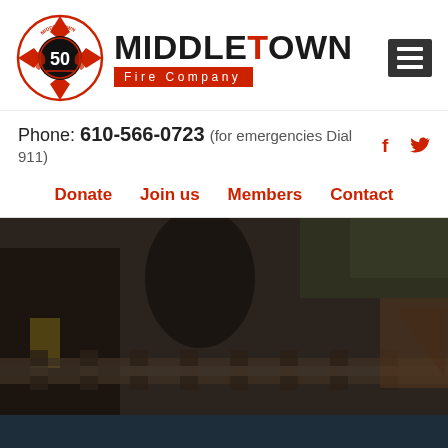[Figure (logo): Middletown Fire Company 50th anniversary badge logo — red Maltese cross with black center circle showing '50', laurel branches, crossed axes]
MIDDLETOWN Fire Company
[Figure (logo): Hamburger menu icon — three horizontal white lines on dark square background]
Phone: 610-566-0723  (for emergencies Dial 911)
[Figure (other): Facebook icon (f) and Twitter bird icon in red]
Donate
Join us
Members
Contact
[Figure (photo): Dark muted photo of firefighters/responders near railway tracks with greenery in background]
[Figure (other): Dark navy footer bar]